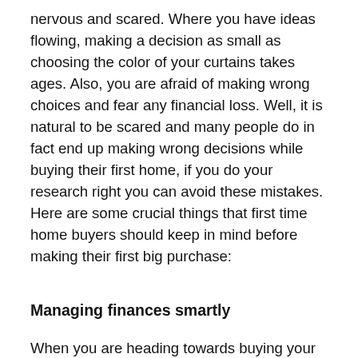nervous and scared. Where you have ideas flowing, making a decision as small as choosing the color of your curtains takes ages. Also, you are afraid of making wrong choices and fear any financial loss. Well, it is natural to be scared and many people do in fact end up making wrong decisions while buying their first home, if you do your research right you can avoid these mistakes. Here are some crucial things that first time home buyers should keep in mind before making their first big purchase:
Managing finances smartly
When you are heading towards buying your house you obviously have reserves, but how you manage the reserves and manage your budget makes a very crucial role. Many people end up spending too much on one or two aspects that leaves very little for other important stuff. Let's say you have a limited cash reserve the major